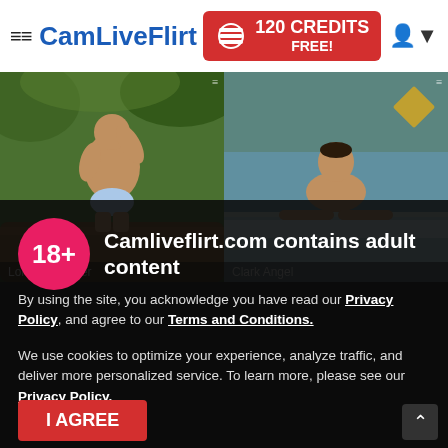CamLiveFlirt — 120 CREDITS FREE!
[Figure (photo): Two profile photos side by side: left shows a muscular man sitting outdoors in tropical setting, right shows a young man in a hot tub/pool. Labels: Lorenzo Walker and Clark Angel.]
Camliveflirt.com contains adult content
By using the site, you acknowledge you have read our Privacy Policy, and agree to our Terms and Conditions.
We use cookies to optimize your experience, analyze traffic, and deliver more personalized service. To learn more, please see our Privacy Policy.
I AGREE